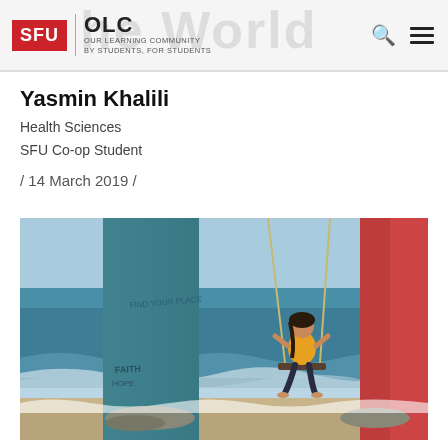SFU OLC | OUR LEARNING COMMUNITY BY STUDENTS, FOR STUDENTS
Yasmin Khalili
Health Sciences
SFU Co-op Student
/ 14 March 2019 /
[Figure (photo): A woman in a yellow top sits on a swing between painted concrete pillars at a beach, with a pier visible in the background and ocean waves at her feet.]